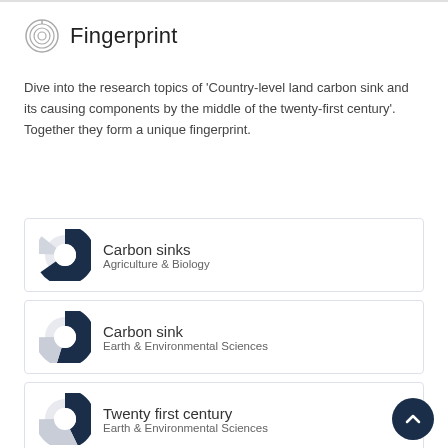Fingerprint
Dive into the research topics of 'Country-level land carbon sink and its causing components by the middle of the twenty-first century'. Together they form a unique fingerprint.
Carbon sinks
Agriculture & Biology
Carbon sink
Earth & Environmental Sciences
Twenty first century
Earth & Environmental Sciences
Greenhouse gas emissions
Agriculture & Biology